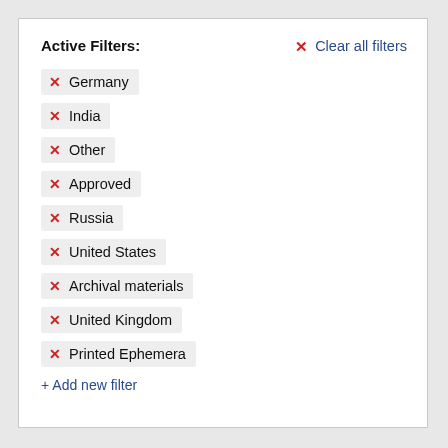Active Filters:
✕ Clear all filters
✕ Germany
✕ India
✕ Other
✕ Approved
✕ Russia
✕ United States
✕ Archival materials
✕ United Kingdom
✕ Printed Ephemera
+ Add new filter